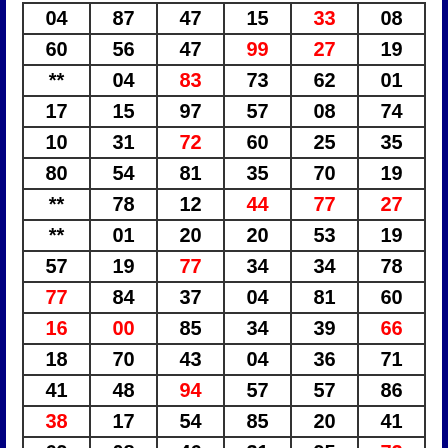| 04 | 87 | 47 | 15 | 33 | 08 |
| 60 | 56 | 47 | 99 | 27 | 19 |
| ** | 04 | 83 | 73 | 62 | 01 |
| 17 | 15 | 97 | 57 | 08 | 74 |
| 10 | 31 | 72 | 60 | 25 | 35 |
| 80 | 54 | 81 | 35 | 70 | 19 |
| ** | 78 | 12 | 44 | 77 | 27 |
| ** | 01 | 20 | 20 | 53 | 19 |
| 57 | 19 | 77 | 34 | 34 | 78 |
| 77 | 84 | 37 | 04 | 81 | 60 |
| 16 | 00 | 85 | 34 | 39 | 66 |
| 18 | 70 | 43 | 04 | 36 | 71 |
| 41 | 48 | 94 | 57 | 57 | 86 |
| 38 | 17 | 54 | 85 | 20 | 41 |
| 69 | 08 | 46 | 31 | 95 | 72 |